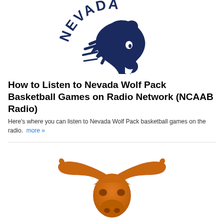[Figure (logo): Nevada Wolf Pack athletic logo — dark navy wolf head with 'NEVADA' arched text above]
How to Listen to Nevada Wolf Pack Basketball Games on Radio Network (NCAAB Radio)
Here's where you can listen to Nevada Wolf Pack basketball games on the radio.  more »
[Figure (logo): Texas Longhorns athletic logo — orange longhorn skull with wide horns]